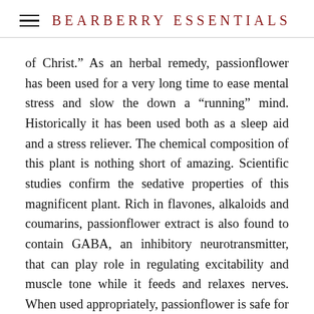BEARBERRY ESSENTIALS
of Christ.” As an herbal remedy, passionflower has been used for a very long time to ease mental stress and slow the down a “running” mind. Historically it has been used both as a sleep aid and a stress reliever. The chemical composition of this plant is nothing short of amazing. Scientific studies confirm the sedative properties of this magnificent plant. Rich in flavones, alkaloids and coumarins, passionflower extract is also found to contain GABA, an inhibitory neurotransmitter, that can play role in regulating excitability and muscle tone while it feeds and relaxes nerves. When used appropriately, passionflower is safe for children and persons with health conditions and taken in the form of a tincture. Herbalists consider passion flower an important herb for insomnia caused by mental worry, overwork, or nervous exhaustion. In